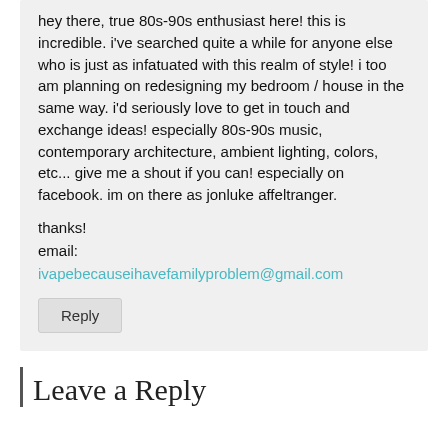hey there, true 80s-90s enthusiast here! this is incredible. i've searched quite a while for anyone else who is just as infatuated with this realm of style! i too am planning on redesigning my bedroom / house in the same way. i'd seriously love to get in touch and exchange ideas! especially 80s-90s music, contemporary architecture, ambient lighting, colors, etc... give me a shout if you can! especially on facebook. im on there as jonluke affeltranger.
thanks!
email:
ivapebecauseihavefamilyproblem@gmail.com
Reply
Leave a Reply